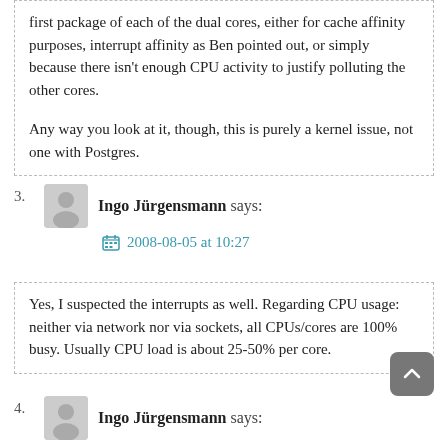first package of each of the dual cores, either for cache affinity purposes, interrupt affinity as Ben pointed out, or simply because there isn't enough CPU activity to justify polluting the other cores.
Any way you look at it, though, this is purely a kernel issue, not one with Postgres.
3. Ingo Jürgensmann says: 2008-08-05 at 10:27
Yes, I suspected the interrupts as well. Regarding CPU usage: neither via network nor via sockets, all CPUs/cores are 100% busy. Usually CPU load is about 25-50% per core.
4. Ingo Jürgensmann says: 2008-08-05 at 10:31
Well, that's what I already guessed, but just wanted to have confirmation. Anyway, it would be nice to have the kernel using all cores equally.